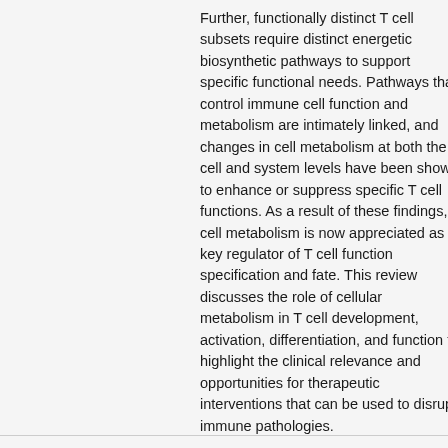Further, functionally distinct T cell subsets require distinct energetic biosynthetic pathways to support specific functional needs. Pathways that control immune cell function and cell metabolism are intimately linked, and changes in cell metabolism at both the cell and system levels have been shown to enhance or suppress specific T cell functions. As a result of these findings, cell metabolism is now appreciated as a key regulator of T cell function specification and fate. This review discusses the role of cellular metabolism in T cell development, activation, differentiation, and function to highlight the clinical relevance and opportunities for therapeutic interventions that can be used to disrupt immune pathologies.